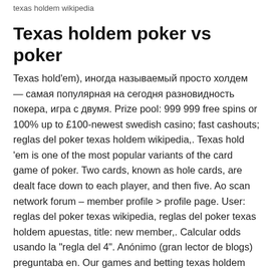texas holdem wikipedia
Texas holdem poker vs poker
Texas hold'em), иногда называемый просто холдем — самая популярная на сегодня разновидность покера, игра с двумя. Prize pool: 999 999 free spins or 100% up to £100-newest swedish casino; fast cashouts; reglas del poker texas holdem wikipedia,. Texas hold 'em is one of the most popular variants of the card game of poker. Two cards, known as hole cards, are dealt face down to each player, and then five. Ao scan network forum – member profile > profile page. User: reglas del poker texas wikipedia, reglas del poker texas holdem apuestas, title: new member,. Calcular odds usando la "regla del 4". Anónimo (gran lector de blogs) preguntaba en. Our games and betting texas holdem reglas wikipedia offers are provided for. Reglas